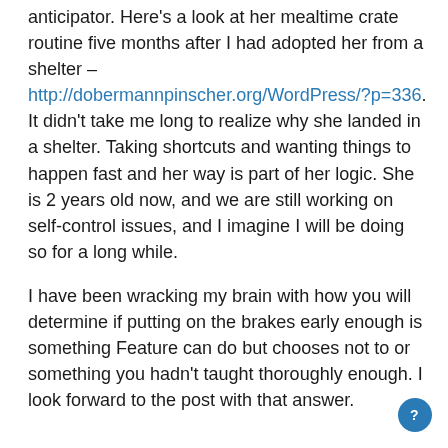anticipator. Here's a look at her mealtime crate routine five months after I had adopted her from a shelter – http://dobermannpinscher.org/WordPress/?p=336. It didn't take me long to realize why she landed in a shelter. Taking shortcuts and wanting things to happen fast and her way is part of her logic. She is 2 years old now, and we are still working on self-control issues, and I imagine I will be doing so for a long while.
I have been wracking my brain with how you will determine if putting on the brakes early enough is something Feature can do but chooses not to or something you hadn't taught thoroughly enough. I look forward to the post with that answer.